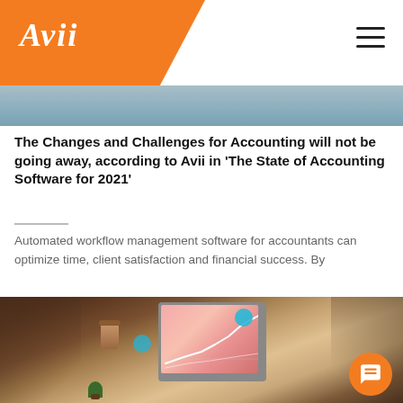Avii
[Figure (photo): Top partial photo of a desk/workspace scene in blue-gray tones]
The Changes and Challenges for Accounting will not be going away, according to Avii in ‘The State of Accounting Software for 2021’
Automated workflow management software for accountants can optimize time, client satisfaction and financial success. By
[Figure (photo): Photo of people around a table, one pointing at a laptop screen showing a pink chart with white line graph. A coffee cup and small plant are visible on the table.]